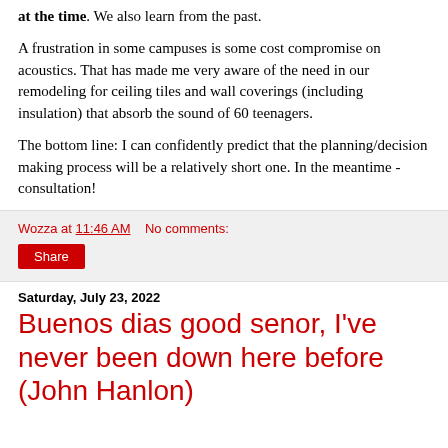at the time. We also learn from the past.
A frustration in some campuses is some cost compromise on acoustics. That has made me very aware of the need in our remodeling for ceiling tiles and wall coverings (including insulation) that absorb the sound of 60 teenagers.
The bottom line: I can confidently predict that the planning/decision making process will be a relatively short one. In the meantime - consultation!
Wozza at 11:46 AM    No comments:
Share
Saturday, July 23, 2022
Buenos dias good senor, I've never been down here before (John Hanlon)